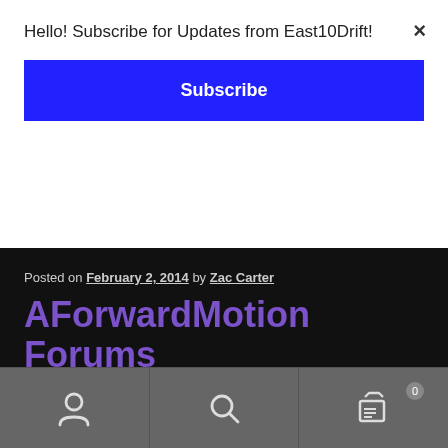Hello! Subscribe for Updates from East10Drift!
Subscribe
×
Posted on February 2, 2014 by Zac Carter
AForwardMotion Forums
Drivers! Announcing the AForwardMotion.com Forums, they have provided us, East10Drift, with a private driver section for us to discuss East10Drift events.